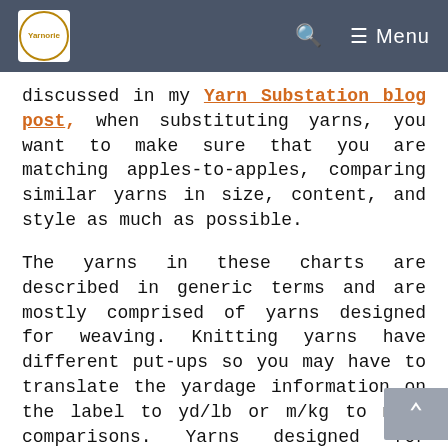Yarnorie logo | Search | Menu
discussed in my Yarn Substation blog post, when substituting yarns, you want to make sure that you are matching apples-to-apples, comparing similar yarns in size, content, and style as much as possible.
The yarns in these charts are described in generic terms and are mostly comprised of yarns designed for weaving. Knitting yarns have different put-ups so you may have to translate the yardage information on the label to yd/lb or m/kg to make comparisons. Yarns designed for knitting often have less twist or may be preconditioned, so even if they are the